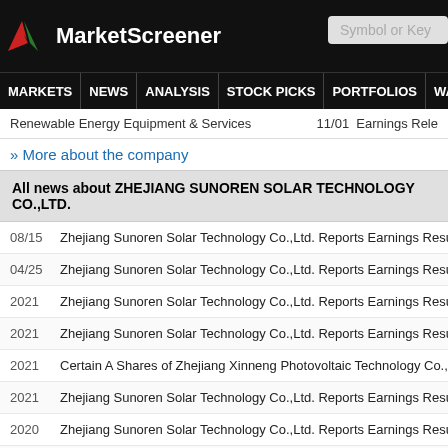MarketScreener
MARKETS NEWS ANALYSIS STOCK PICKS PORTFOLIOS WATCHLI
Renewable Energy Equipment & Services   11/01  Earnings Rele
» More about the company
All news about ZHEJIANG SUNOREN SOLAR TECHNOLOGY CO.,LTD.
08/15   Zhejiang Sunoren Solar Technology Co.,Ltd. Reports Earnings Results for
04/25   Zhejiang Sunoren Solar Technology Co.,Ltd. Reports Earnings Results for
2021   Zhejiang Sunoren Solar Technology Co.,Ltd. Reports Earnings Results for
2021   Zhejiang Sunoren Solar Technology Co.,Ltd. Reports Earnings Results for
2021   Certain A Shares of Zhejiang Xinneng Photovoltaic Technology Co., Ltd are
2021   Zhejiang Sunoren Solar Technology Co.,Ltd. Reports Earnings Results for
2020   Zhejiang Sunoren Solar Technology Co.,Ltd. Reports Earnings Results for
2020   Zhejiang Sunoren Solar Technology Co.,Ltd. Reports Earnings Results for
2020   Zhejiang Sunoren Solar Technology Co.,Ltd. Reports Earnings Results for
2020   Zhejiang Sunoren Solar Technology Co.,Ltd. cancelled the acquisition of Ta
2019   Zhejiang Sunoren Solar Technology Co.,Ltd. Reports Earnings Results for